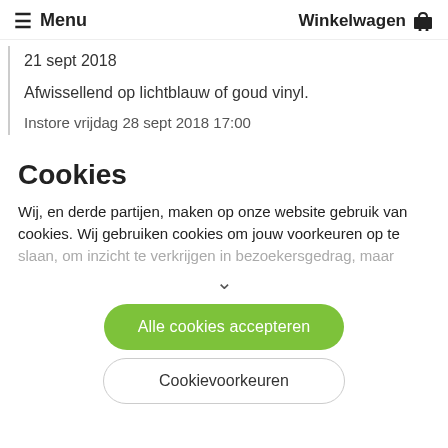≡ Menu   Winkelwagen 🛒
21 sept 2018
Afwissellend op lichtblauw of goud vinyl.
Instore vrijdag 28 sept 2018 17:00
Cookies
Wij, en derde partijen, maken op onze website gebruik van cookies. Wij gebruiken cookies om jouw voorkeuren op te slaan, om inzicht te verkrijgen in bezoekersgedrag, maar
∨
Alle cookies accepteren
Cookievoorkeuren